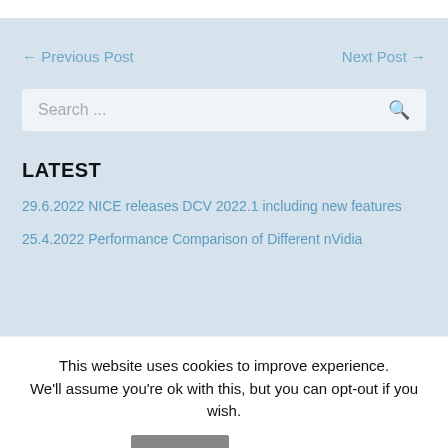← Previous Post
Next Post →
Search ...
LATEST
29.6.2022 NICE releases DCV 2022.1 including new features
25.4.2022 Performance Comparison of Different nVidia
This website uses cookies to improve experience. We'll assume you're ok with this, but you can opt-out if you wish.
Accept
Read More